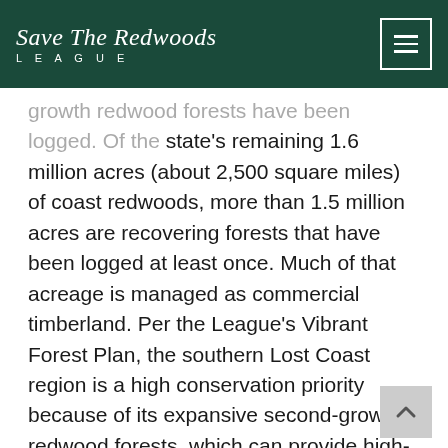Save The Redwoods LEAGUE
growth redwood forests have been logged. Of the state's remaining 1.6 million acres (about 2,500 square miles) of coast redwoods, more than 1.5 million acres are recovering forests that have been logged at least once. Much of that acreage is managed as commercial timberland. Per the League's Vibrant Forest Plan, the southern Lost Coast region is a high conservation priority because of its expansive second-growth redwood forests, which can provide high-quality habitat and significant carbon storage.
Zoned for timber and agricultural management, the Lost Coast Redwoods property contains large trees ranging in age from 80 to 100 years and amounting to millions of board feet of high-quality timber. Given its proximity to Highway 1 and well-